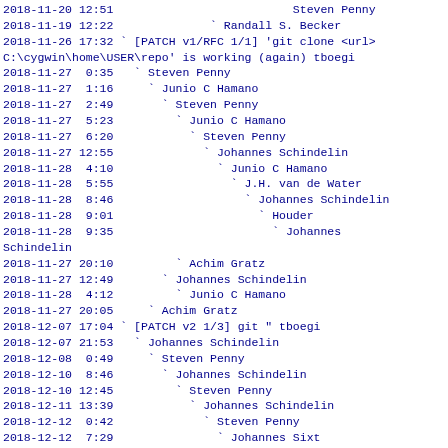2018-11-20 12:51                          Steven Penny
2018-11-19 12:22              ` Randall S. Becker
2018-11-26 17:32 ` [PATCH v1/RFC 1/1] 'git clone <url> C:\cygwin\home\USER\repo' is working (again) tboegi
2018-11-27  0:35   ` Steven Penny
2018-11-27  1:16     ` Junio C Hamano
2018-11-27  2:49       ` Steven Penny
2018-11-27  5:23         ` Junio C Hamano
2018-11-27  6:20           ` Steven Penny
2018-11-27 12:55             ` Johannes Schindelin
2018-11-28  4:10               ` Junio C Hamano
2018-11-28  5:55                 ` J.H. van de Water
2018-11-28  8:46                   ` Johannes Schindelin
2018-11-28  9:01                     ` Houder
2018-11-28  9:35                       ` Johannes
Schindelin
2018-11-27 20:10         ` Achim Gratz
2018-11-27 12:49       ` Johannes Schindelin
2018-11-28  4:12         ` Junio C Hamano
2018-11-27 20:05     ` Achim Gratz
2018-12-07 17:04 ` [PATCH v2 1/3] git " tboegi
2018-12-07 21:53   ` Johannes Schindelin
2018-12-08  0:49     ` Steven Penny
2018-12-10  8:46       ` Johannes Schindelin
2018-12-10 12:45         ` Steven Penny
2018-12-11 13:39           ` Johannes Schindelin
2018-12-12  0:42             ` Steven Penny
2018-12-12  7:29               ` Johannes Sixt
2018-12-12 12:40                 ` Steven Penny
2018-12-13  3:52                   ` Junio C Hamano